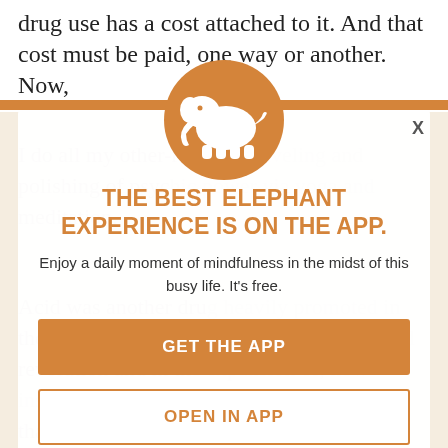drug use has a cost attached to it. And that cost must be paid, one way or another. Now,
I do all my other-reckless traveling and polishing of psychic power via yoga and meditation.
Acid was another drug heavily promoted in the sixties, linked to the ideas of cultural revolution and in the expansion of consciousness that it shifts of consciousness enormously. Those that studied LSD use were even able to SD trips into four specific types, each one following logically on from the other.
[Figure (logo): Elephant Journal app icon — white elephant silhouette on orange circle background]
THE BEST ELEPHANT EXPERIENCE IS ON THE APP.
Enjoy a daily moment of mindfulness in the midst of this busy life. It's free.
GET THE APP
OPEN IN APP